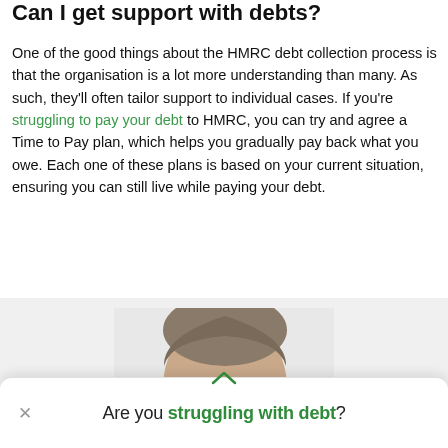Can I get support with debts?
One of the good things about the HMRC debt collection process is that the organisation is a lot more understanding than many. As such, they'll often tailor support to individual cases. If you're struggling to pay your debt to HMRC, you can try and agree a Time to Pay plan, which helps you gradually pay back what you owe. Each one of these plans is based on your current situation, ensuring you can still live while paying your debt.
[Figure (photo): Partial photo of a man's head (top of head visible), shown from forehead up, against a light grey background.]
Are you struggling with debt?